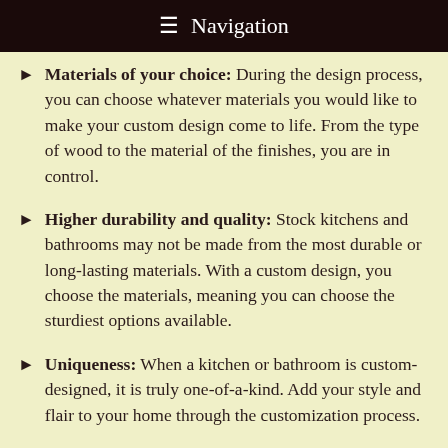Navigation
Materials of your choice: During the design process, you can choose whatever materials you would like to make your custom design come to life. From the type of wood to the material of the finishes, you are in control.
Higher durability and quality: Stock kitchens and bathrooms may not be made from the most durable or long-lasting materials. With a custom design, you choose the materials, meaning you can choose the sturdiest options available.
Uniqueness: When a kitchen or bathroom is custom-designed, it is truly one-of-a-kind. Add your style and flair to your home through the customization process.